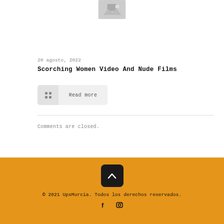[Figure (illustration): Placeholder image thumbnail with mountain/image icon at top center]
20 agosto, 2022
Scorching Women Video And Nude Films
Read more
Comments are closed.
[Figure (other): Back to top button - dark rounded square with upward chevron arrow]
© 2021 UpsMurcia. Todos los derechos reservados.